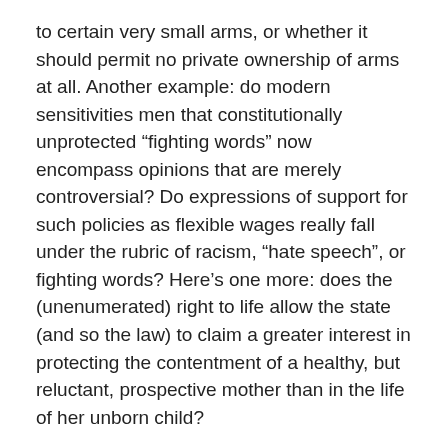to certain very small arms, or whether it should permit no private ownership of arms at all. Another example: do modern sensitivities men that constitutionally unprotected “fighting words” now encompass opinions that are merely controversial? Do expressions of support for such policies as flexible wages really fall under the rubric of racism, “hate speech”, or fighting words? Here’s one more: does the (unenumerated) right to life allow the state (and so the law) to claim a greater interest in protecting the contentment of a healthy, but reluctant, prospective mother than in the life of her unborn child?
Three years ago, Randy Barnett asked a question about the living constitution amid the debate over the confirmation of Justice Neal Gorsuch, an avowed originalist. Barnett asked: